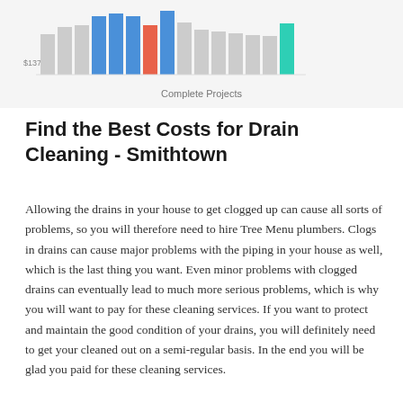[Figure (bar-chart): Bar chart showing complete projects with bars in gray, blue, coral/red, and teal colors. Y-axis label $137 visible.]
Find the Best Costs for Drain Cleaning - Smithtown
Allowing the drains in your house to get clogged up can cause all sorts of problems, so you will therefore need to hire Tree Menu plumbers. Clogs in drains can cause major problems with the piping in your house as well, which is the last thing you want. Even minor problems with clogged drains can eventually lead to much more serious problems, which is why you will want to pay for these cleaning services. If you want to protect and maintain the good condition of your drains, you will definitely need to get your cleaned out on a semi-regular basis. In the end you will be glad you paid for these cleaning services.